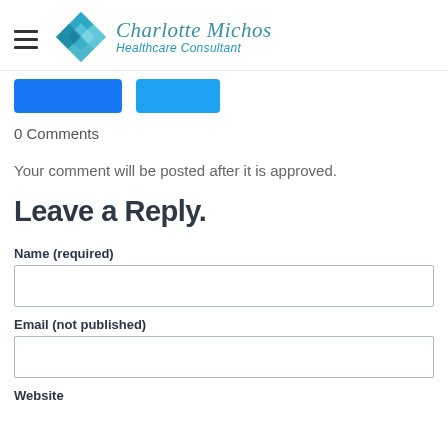Charlotte Michos Healthcare Consultant
[Figure (logo): Charlotte Michos Healthcare Consultant logo with teal diamond grid icon and stylized script/italic text]
[Figure (screenshot): Two blue social sharing buttons (Facebook and Twitter)]
0 Comments
Your comment will be posted after it is approved.
Leave a Reply.
Name (required)
Email (not published)
Website